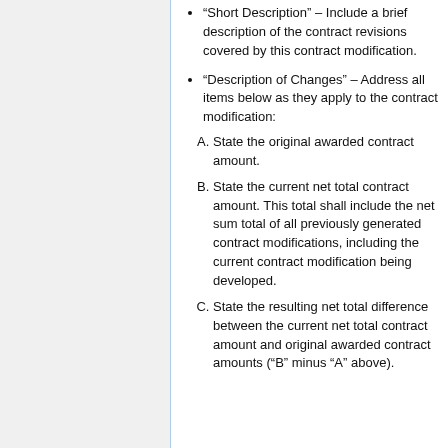“Short Description” – Include a brief description of the contract revisions covered by this contract modification.
“Description of Changes” – Address all items below as they apply to the contract modification:
A. State the original awarded contract amount.
B. State the current net total contract amount. This total shall include the net sum total of all previously generated contract modifications, including the current contract modification being developed.
C. State the resulting net total difference between the current net total contract amount and original awarded contract amounts (“B” minus “A” above).